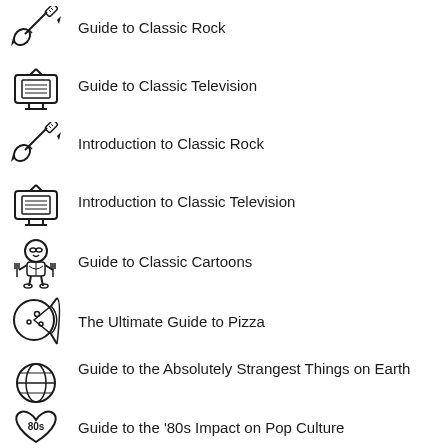Guide to Classic Rock
Guide to Classic Television
Introduction to Classic Rock
Introduction to Classic Television
Guide to Classic Cartoons
The Ultimate Guide to Pizza
Guide to the Absolutely Strangest Things on Earth
Guide to the '80s Impact on Pop Culture
Guide to Wine Tours
Guide to 80's Music